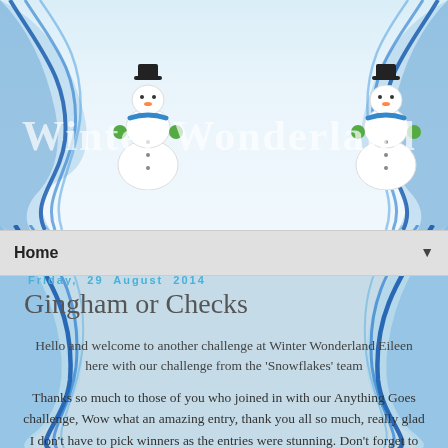[Figure (illustration): Winter Wonderland blog header with snowman decorations, blue swirl designs, and winter-themed background]
Winter Wonderland
Home ▼
Friday, 29 August 2014
Gingham or Checks
Hello and welcome to another challenge at Winter Wonderland Eileen here with our challenge from the 'Snowflakes' team
Thanks so much to those of you who joined in with our Anything Goes challenge, Wow what an amazing entry, thank you all so much, really glad I don't have to pick winners as the entries were stunning. Don't forget to check back on Sunday for the winners and top 3.